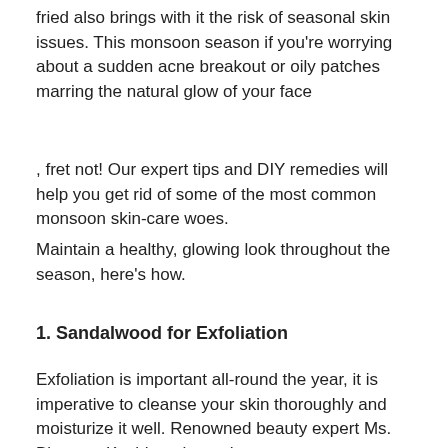fried also brings with it the risk of seasonal skin issues. This monsoon season if you're worrying about a sudden acne breakout or oily patches marring the natural glow of your face
, fret not! Our expert tips and DIY remedies will help you get rid of some of the most common monsoon skin-care woes.
Maintain a healthy, glowing look throughout the season, here’s how.
1. Sandalwood for Exfoliation
Exfoliation is important all-round the year, it is imperative to cleanse your skin thoroughly and moisturize it well. Renowned beauty expert Ms. Blossom Kochhar shares how you can use common kitchen ingredients to exfoliate and cleanse your skin this monsoon. “Sandalwood powder can be mixed with orange peel and